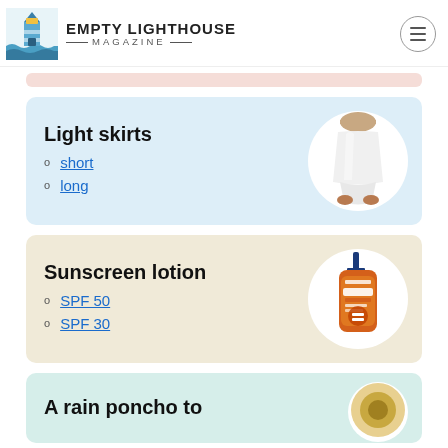EMPTY LIGHTHOUSE MAGAZINE
Light skirts
short
long
[Figure (photo): White mini skirt worn by a person, shown from waist to knees]
Sunscreen lotion
SPF 50
SPF 30
[Figure (photo): Orange bottle of Banana Boat sunscreen lotion with blue pump top]
A rain poncho to
[Figure (photo): Partially visible round object at bottom right of page]